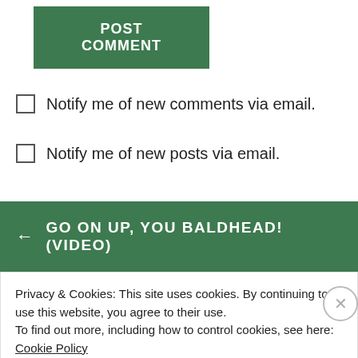POST COMMENT
Notify me of new comments via email.
Notify me of new posts via email.
← GO ON UP, YOU BALDHEAD! (VIDEO)
Privacy & Cookies: This site uses cookies. By continuing to use this website, you agree to their use.
To find out more, including how to control cookies, see here: Cookie Policy
Close and accept